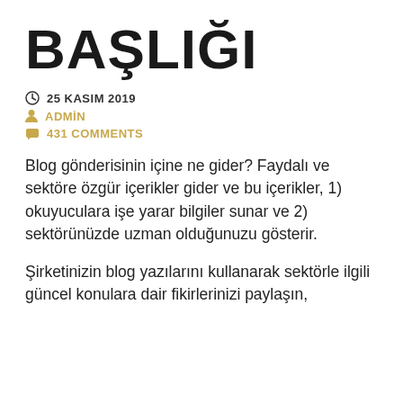BAŞLIĞI
25 KASIM 2019
ADMİN
431 COMMENTS
Blog gönderisinin içine ne gider? Faydalı ve sektöre özgür içerikler gider ve bu içerikler, 1) okuyuculara işe yarar bilgiler sunar ve 2) sektörünüzde uzman olduğunuzu gösterir.
Şirketinizin blog yazılarını kullanarak sektörle ilgili güncel konulara dair fikirlerinizi paylaşın,